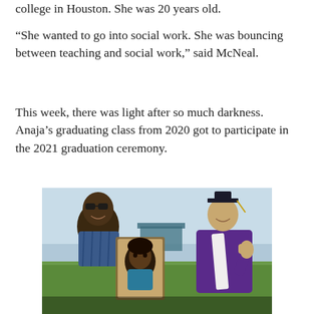college in Houston. She was 20 years old.
“She wanted to go into social work. She was bouncing between teaching and social work,” said McNeal.
This week, there was light after so much darkness. Anaja’s graduating class from 2020 got to participate in the 2021 graduation ceremony.
[Figure (photo): A man wearing sunglasses and a blue striped shirt stands on the left holding a framed portrait photo of a young Black woman. On the right stands a graduate wearing a purple cap and gown with a white sash, giving a thumbs up. The setting appears to be an outdoor graduation ceremony with a green field and buildings in the background.]